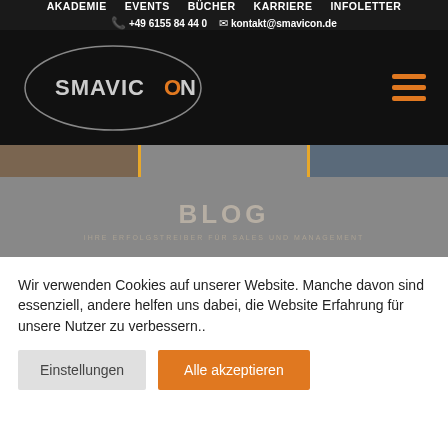AKADEMIE  EVENTS  BÜCHER  KARRIERE  INFOLETTER  +49 6155 84 44 0  kontakt@smavicon.de
[Figure (logo): Smavicon logo: oval outline with SMAVICON text inside, orange O letter, on black background with orange hamburger menu icon on right]
[Figure (photo): Banner strip showing three image segments: brownish left, grey center with yellow border, blue-grey right]
BLOG
IHRE ERFOLGSTREIBER FÜR SALES UND MANAGEMENT
Wir verwenden Cookies auf unserer Website. Manche davon sind essenziell, andere helfen uns dabei, die Website Erfahrung für unsere Nutzer zu verbessern..
Einstellungen   Alle akzeptieren